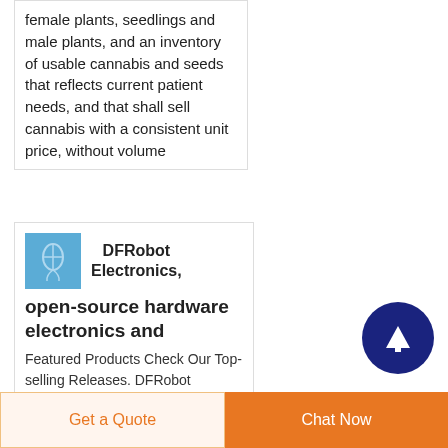female plants, seedlings and male plants, and an inventory of usable cannabis and seeds that reflects current patient needs, and that shall sell cannabis with a consistent unit price, without volume
[Figure (screenshot): DFRobot Electronics product card with logo image thumbnail]
DFRobot Electronics, open-source hardware electronics and
Featured Products Check Our Top-selling Releases. DFRobot Beginner Kit for
[Figure (illustration): Dark blue circular scroll-to-top button with upward arrow]
Get a Quote
Chat Now